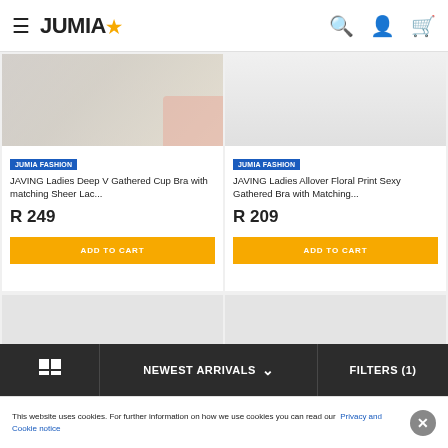JUMIA
[Figure (screenshot): Left product image - JAVING Ladies Deep V Gathered Cup Bra product photo (partial view, top cropped)]
JUMIA FASHION
JAVING Ladies Deep V Gathered Cup Bra with matching Sheer Lac...
R 249
ADD TO CART
[Figure (screenshot): Right product image - JAVING Ladies Allover Floral Print Sexy Gathered Bra product photo (partial, grey background)]
JUMIA FASHION
JAVING Ladies Allover Floral Print Sexy Gathered Bra with Matching...
R 209
ADD TO CART
[Figure (screenshot): Bottom left product card loading placeholder]
[Figure (screenshot): Bottom right product card loading placeholder]
NEWEST ARRIVALS  FILTERS (1)
This website uses cookies. For further information on how we use cookies you can read our Privacy and Cookie notice